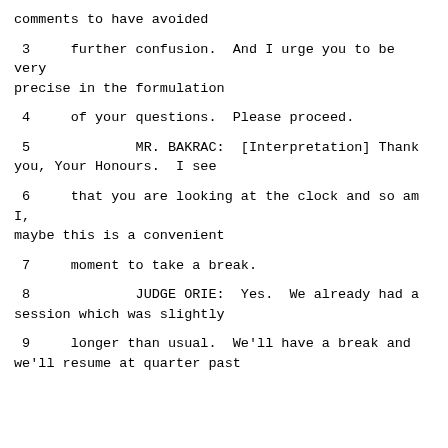comments to have avoided
3     further confusion.  And I urge you to be very precise in the formulation
4     of your questions.  Please proceed.
5             MR. BAKRAC:  [Interpretation] Thank you, Your Honours.  I see
6     that you are looking at the clock and so am I, maybe this is a convenient
7     moment to take a break.
8             JUDGE ORIE:  Yes.  We already had a session which was slightly
9     longer than usual.  We'll have a break and we'll resume at quarter past